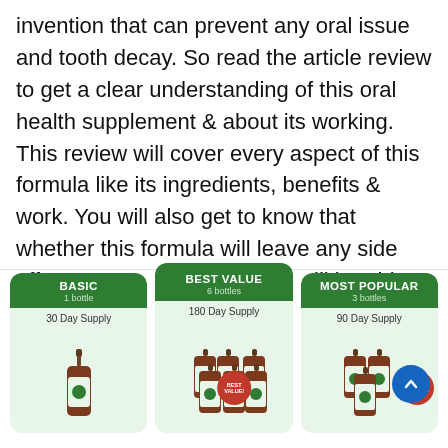invention that can prevent any oral issue and tooth decay. So read the article review to get a clear understanding of this oral health supplement & about its working. This review will cover every aspect of this formula like its ingredients, benefits & work. You will also get to know that whether this formula will leave any side effect on your health, so you will be able to decide to buy this supplement or not.
[Figure (infographic): Three product cards side by side: BASIC (1 bottle, 30 Day Supply), BEST VALUE (6 bottles, 180 Day Supply, center/raised), MOST POPULAR (3 bottles, 90 Day Supply). Each card has a dark green header and light green body with bottle illustrations. Best Value and Most Popular have red circular badges. A blue circular scroll-to-top button overlaps the right card.]